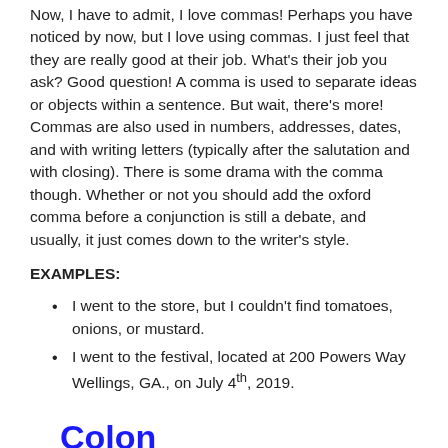Now, I have to admit, I love commas! Perhaps you have noticed by now, but I love using commas. I just feel that they are really good at their job. What's their job you ask? Good question! A comma is used to separate ideas or objects within a sentence. But wait, there's more! Commas are also used in numbers, addresses, dates, and with writing letters (typically after the salutation and with closing). There is some drama with the comma though. Whether or not you should add the oxford comma before a conjunction is still a debate, and usually, it just comes down to the writer's style.
EXAMPLES:
I went to the store, but I couldn't find tomatoes, onions, or mustard.
I went to the festival, located at 200 Powers Way Wellings, GA., on July 4th, 2019.
Colon
The colon is, in my opinion, a misunderstood